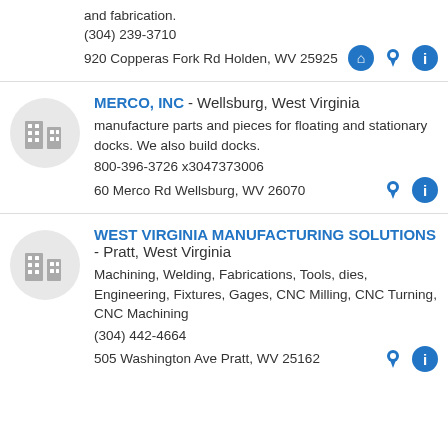and fabrication.
(304) 239-3710
920 Copperas Fork Rd Holden, WV 25925
MERCO, INC - Wellsburg, West Virginia
manufacture parts and pieces for floating and stationary docks. We also build docks.
800-396-3726 x3047373006
60 Merco Rd Wellsburg, WV 26070
WEST VIRGINIA MANUFACTURING SOLUTIONS - Pratt, West Virginia
Machining, Welding, Fabrications, Tools, dies, Engineering, Fixtures, Gages, CNC Milling, CNC Turning, CNC Machining
(304) 442-4664
505 Washington Ave Pratt, WV 25162